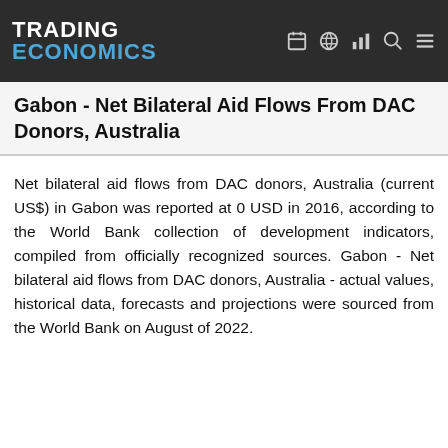TRADING ECONOMICS
Gabon - Net Bilateral Aid Flows From DAC Donors, Australia
Net bilateral aid flows from DAC donors, Australia (current US$) in Gabon was reported at 0 USD in 2016, according to the World Bank collection of development indicators, compiled from officially recognized sources. Gabon - Net bilateral aid flows from DAC donors, Australia - actual values, historical data, forecasts and projections were sourced from the World Bank on August of 2022.